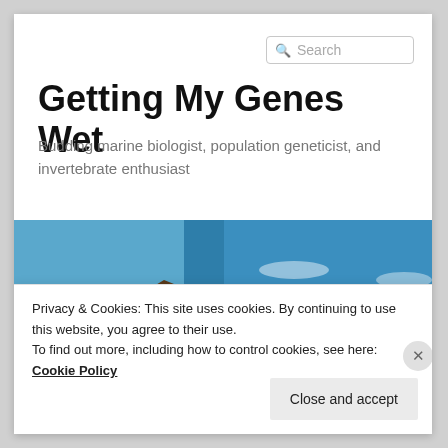Getting My Genes Wet
Budding marine biologist, population geneticist, and invertebrate enthusiast
[Figure (photo): Rocky coastline with orange-brown rocks on the left and blue ocean with white waves on the right]
Privacy & Cookies: This site uses cookies. By continuing to use this website, you agree to their use.
To find out more, including how to control cookies, see here: Cookie Policy